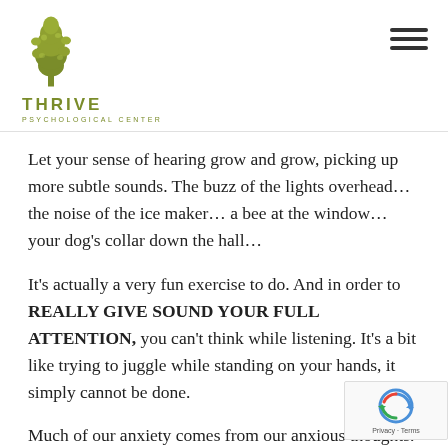THRIVE PSYCHOLOGICAL CENTER
Let your sense of hearing grow and grow, picking up more subtle sounds. The buzz of the lights overhead… the noise of the ice maker… a bee at the window… your dog's collar down the hall…
It's actually a very fun exercise to do. And in order to REALLY GIVE SOUND YOUR FULL ATTENTION, you can't think while listening. It's a bit like trying to juggle while standing on your hands, it simply cannot be done.
Much of our anxiety comes from our anxious thoughts. It's our reptilian brain trying to keep us